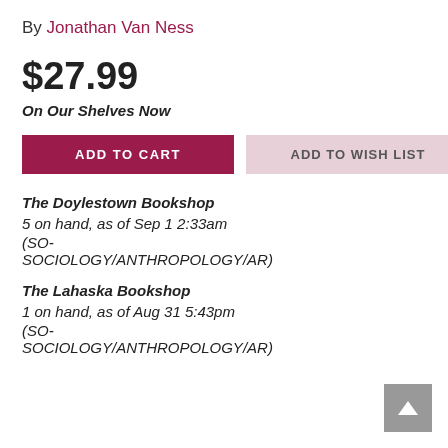By Jonathan Van Ness
$27.99
On Our Shelves Now
ADD TO CART
ADD TO WISH LIST
The Doylestown Bookshop
5 on hand, as of Sep 1 2:33am
(SO-SOCIOLOGY/ANTHROPOLOGY/AR)
The Lahaska Bookshop
1 on hand, as of Aug 31 5:43pm
(SO-SOCIOLOGY/ANTHROPOLOGY/AR)